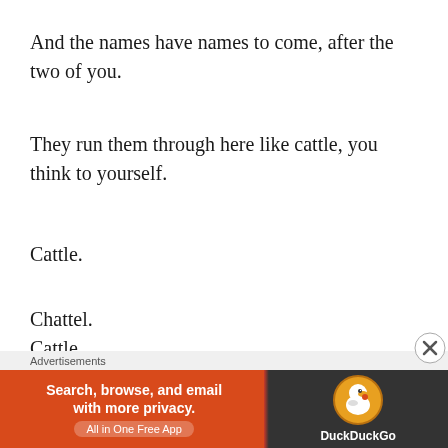And the names have names to come, after the two of you.
They run them through here like cattle, you think to yourself.
Cattle.
Chattel.
Cattle.
Chattel.
That he never loved you is the hardest lesson you will ever learn.
[Figure (other): DuckDuckGo advertisement banner with text: Search, browse, and email with more privacy. All in One Free App. DuckDuckGo logo on dark background.]